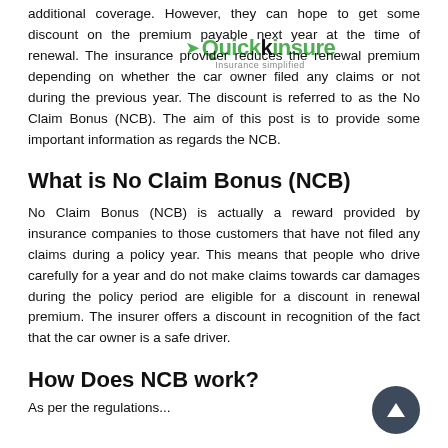additional coverage. However, they can hope to get some discount on the premium payable next year at the time of renewal. The insurance provider reduces the renewal premium depending on whether the car owner filed any claims or not during the previous year. The discount is referred to as the No Claim Bonus (NCB). The aim of this post is to provide some important information as regards the NCB.
[Figure (logo): Quickinsure logo with green checkmark and tagline 'Insurance simplified']
What is No Claim Bonus (NCB)
No Claim Bonus (NCB) is actually a reward provided by insurance companies to those customers that have not filed any claims during a policy year. This means that people who drive carefully for a year and do not make claims towards car damages during the policy period are eligible for a discount in renewal premium. The insurer offers a discount in recognition of the fact that the car owner is a safe driver.
How Does NCB work?
As per the regulations...